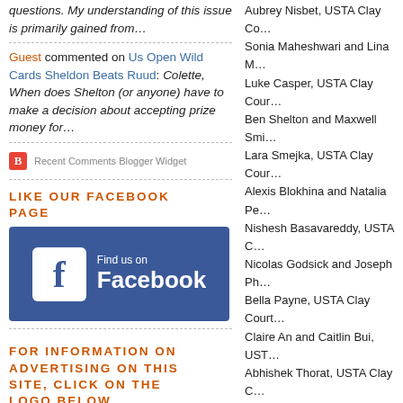questions. My understanding of this issue is primarily gained from…
Guest commented on Us Open Wild Cards Sheldon Beats Ruud: Colette, When does Shelton (or anyone) have to make a decision about accepting prize money for…
Recent Comments Blogger Widget
LIKE OUR FACEBOOK PAGE
[Figure (logo): Find us on Facebook logo banner]
FOR INFORMATION ON ADVERTISING ON THIS SITE, CLICK ON THE LOGO BELOW
Aubrey Nisbet, USTA Clay Co…
Sonia Maheshwari and Lina M…
Luke Casper, USTA Clay Cour…
Ben Shelton and Maxwell Smi…
Lara Smejka, USTA Clay Cour…
Alexis Blokhina and Natalia Pe…
Nishesh Basavareddy, USTA C…
Nicolas Godsick and Joseph Ph…
Bella Payne, USTA Clay Court…
Claire An and Caitlin Bui, UST…
Abhishek Thorat, USTA Clay C…
Maxwell Exsted and Cooper W…
Savannah Broadus & Abigail F…
Elli Mandlik, ITF Grade 1 Roe…
June
Dali Blanch, ITF Grade 1 Berl…
Allura and Maribella Zamarripa…
Tyler Zink, ITF World Tennis T…
Hailey Baptiste, ITF World Ten…